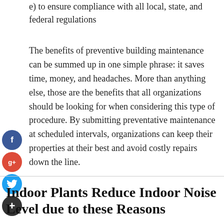e) to ensure compliance with all local, state, and federal regulations
The benefits of preventive building maintenance can be summed up in one simple phrase: it saves time, money, and headaches. More than anything else, those are the benefits that all organizations should be looking for when considering this type of procedure. By submitting preventative maintenance at scheduled intervals, organizations can keep their properties at their best and avoid costly repairs down the line.
Indoor Plants Reduce Indoor Noise Level due to these Reasons